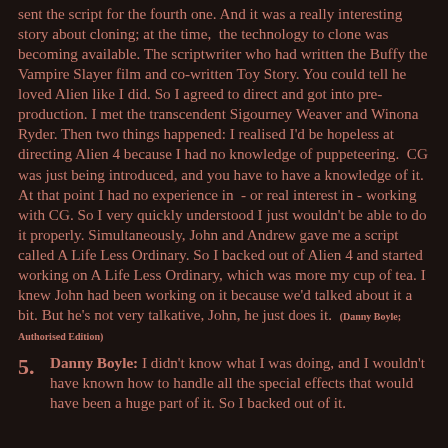sent the script for the fourth one. And it was a really interesting story about cloning; at the time, the technology to clone was becoming available. The scriptwriter who had written the Buffy the Vampire Slayer film and co-written Toy Story. You could tell he loved Alien like I did. So I agreed to direct and got into pre-production. I met the transcendent Sigourney Weaver and Winona Ryder. Then two things happened: I realised I'd be hopeless at directing Alien 4 because I had no knowledge of puppeteering. CG was just being introduced, and you have to have a knowledge of it. At that point I had no experience in - or real interest in - working with CG. So I very quickly understood I just wouldn't be able to do it properly. Simultaneously, John and Andrew gave me a script called A Life Less Ordinary. So I backed out of Alien 4 and started working on A Life Less Ordinary, which was more my cup of tea. I knew John had been working on it because we'd talked about it a bit. But he's not very talkative, John, he just does it. (Danny Boyle; Authorised Edition)
5. Danny Boyle: I didn't know what I was doing, and I wouldn't have known how to handle all the special effects that would have been a huge part of it. So I backed out of it.